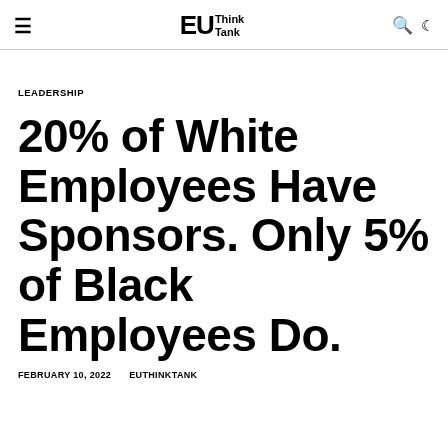EU Think Tank
LEADERSHIP
20% of White Employees Have Sponsors. Only 5% of Black Employees Do.
FEBRUARY 10, 2022   EUTHINKTANK